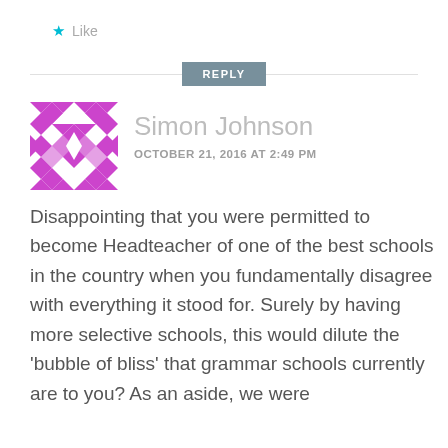Like
[Figure (illustration): Purple geometric quilt-pattern avatar icon for user Simon Johnson]
Simon Johnson
OCTOBER 21, 2016 AT 2:49 PM
Disappointing that you were permitted to become Headteacher of one of the best schools in the country when you fundamentally disagree with everything it stood for. Surely by having more selective schools, this would dilute the 'bubble of bliss' that grammar schools currently are to you? As an aside, we were